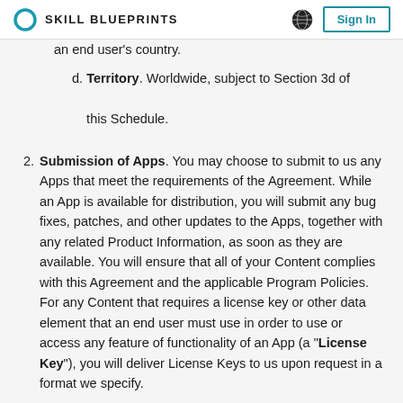SKILL BLUEPRINTS   Sign In
an end user's country.
d. Territory. Worldwide, subject to Section 3d of this Schedule.
2. Submission of Apps. You may choose to submit to us any Apps that meet the requirements of the Agreement. While an App is available for distribution, you will submit any bug fixes, patches, and other updates to the Apps, together with any related Product Information, as soon as they are available. You will ensure that all of your Content complies with this Agreement and the applicable Program Policies. For any Content that requires a license key or other data element that an end user must use in order to use or access any feature of functionality of an App (a "License Key"), you will deliver License Keys to us upon request in a format we specify.